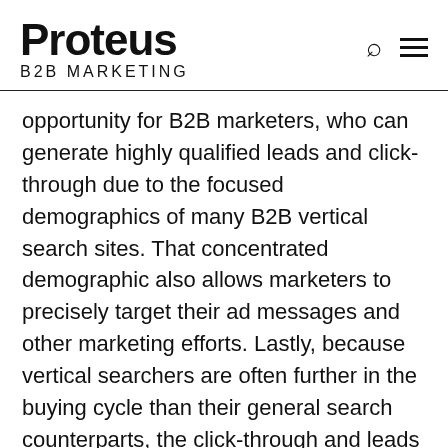Proteus B2B MARKETING
opportunity for B2B marketers, who can generate highly qualified leads and click-through due to the focused demographics of many B2B vertical search sites. That concentrated demographic also allows marketers to precisely target their ad messages and other marketing efforts. Lastly, because vertical searchers are often further in the buying cycle than their general search counterparts, the click-through and leads tend to be more valuable, giving marketers the ability to influence potential buyers as they